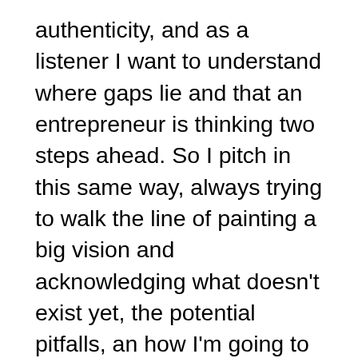authenticity, and as a listener I want to understand where gaps lie and that an entrepreneur is thinking two steps ahead. So I pitch in this same way, always trying to walk the line of painting a big vision and acknowledging what doesn't exist yet, the potential pitfalls, an how I'm going to address them. This is the balance that works for me, the space between a story I cannot tell authentically (because it feels un-grounded) and one that is thinking and playing too small.
Of course your sweet spot will be somewhere slightly different, a comfort zone with a natural set point on the spectrum between dazzle/charisma/vision and grounded, sober reality.